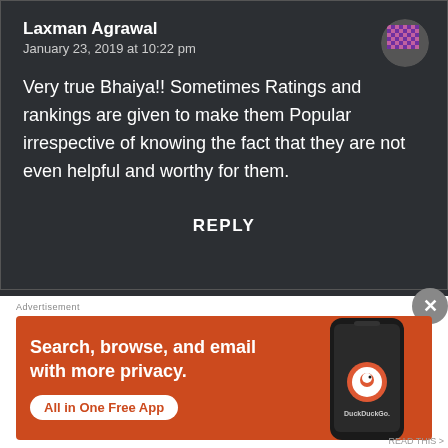Laxman Agrawal
January 23, 2019 at 10:22 pm
Very true Bhaiya!! Sometimes Ratings and rankings are given to make them Popular irrespective of knowing the fact that they are not even helpful and worthy for them.
REPLY
[Figure (illustration): Avatar/profile picture thumbnail - circular, pixelated purple/pink pattern]
Advertisement
[Figure (screenshot): DuckDuckGo advertisement banner with orange background showing phone mockup. Text reads: Search, browse, and email with more privacy. All in One Free App. DuckDuckGo logo on phone.]